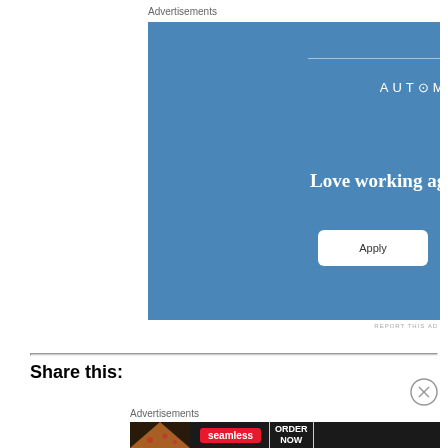Advertisements
[Figure (illustration): Automattic advertisement with blue background. Shows 'AUTOMATTIC' brand name at top, tagline 'Love working again.' and an 'Apply' button.]
REPORT THIS AD
Share this:
Advertisements
[Figure (illustration): Seamless food delivery advertisement showing pizza slices on dark background with Seamless logo and 'ORDER NOW' call-to-action button.]